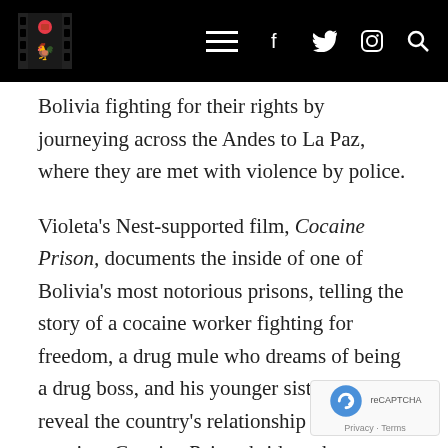[Navigation bar with logo, hamburger menu, Facebook, Twitter, Instagram, Search icons]
Bolivia fighting for their rights by journeying across the Andes to La Paz, where they are met with violence by police.
Violeta's Nest-supported film, Cocaine Prison, documents the inside of one of Bolivia's most notorious prisons, telling the story of a cocaine worker fighting for freedom, a drug mule who dreams of being a drug boss, and his younger sister, to reveal the country's relationship with cocaine. Cocaine Prison bridges the ever-widening gap between the North and the South and brings a new perspective to the War on Drugs as it is waged in the Andes.